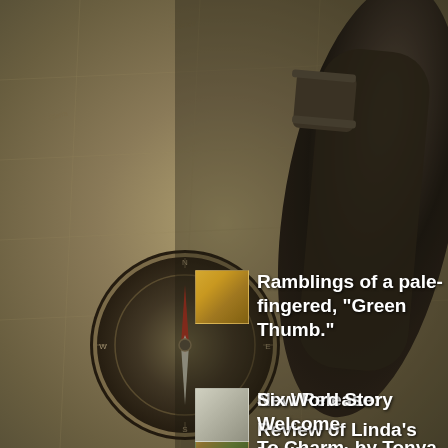[Figure (illustration): Background image showing an antique map with compass and telescope, sepia toned]
Review of Linda’s Midlife Crisis, by Toni Pike
Ramblings of a pale-fingered, “Green Thumb.”
New Release: Welcome To Charm, by Tonya Penrose
Six Word Story